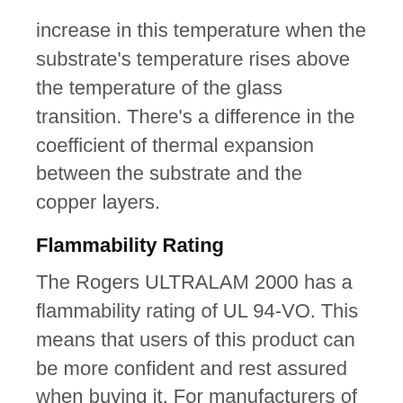increase in this temperature when the substrate's temperature rises above the temperature of the glass transition. There's a difference in the coefficient of thermal expansion between the substrate and the copper layers.
Flammability Rating
The Rogers ULTRALAM 2000 has a flammability rating of UL 94-VO. This means that users of this product can be more confident and rest assured when buying it. For manufacturers of the Rogers 2000, this certification indicates that they have worked with the most appropriate safety measures, which makes them a step higher than other competitors. The UL 94 is an important factor